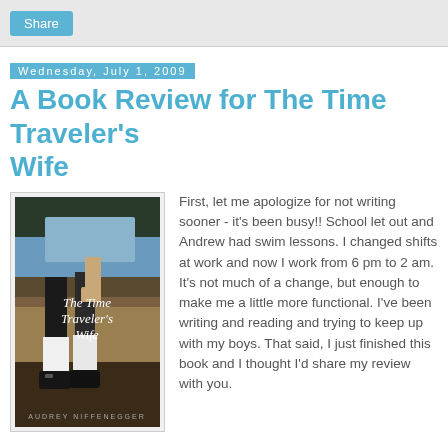[Figure (screenshot): Share button in teal/blue color at top of page]
Wednesday, July 1, 2009
A Book Review for The Time Traveler's Wife
[Figure (photo): Book cover of The Time Traveler's Wife showing legs of a child in school uniform with white socks and black shoes, with the title text overlaid in white serif font. Author name at bottom.]
First, let me apologize for not writing sooner - it's been busy!! School let out and Andrew had swim lessons. I changed shifts at work and now I work from 6 pm to 2 am. It's not much of a change, but enough to make me a little more functional. I've been writing and reading and trying to keep up with my boys. That said, I just finished this book and I thought I'd share my review with you.